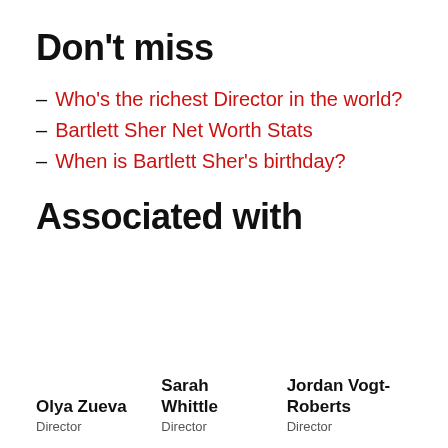Don't miss
Who's the richest Director in the world?
Bartlett Sher Net Worth Stats
When is Bartlett Sher's birthday?
Associated with
Olya Zueva
Director
Sarah Whittle
Director
Jordan Vogt-Roberts
Director